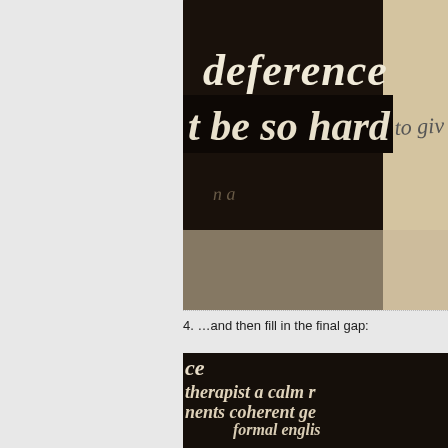[Figure (photo): Close-up photograph of dark blackboard or chalkboard artwork with white handwritten/painted text reading 'deference' on top line and 't be so hard to giv' below, with faint pencil writing visible underneath. Background is cream/beige paper visible on right side.]
4.  …and then fill in the final gap:
[Figure (photo): Close-up photograph of dark blackboard or chalkboard artwork with white handwritten/painted text showing partial words: 'ce' at top, 'therapist   a calm r', 'nents   coherent ge', 'formal englis', 'insurance card', 'deference' at bottom.]